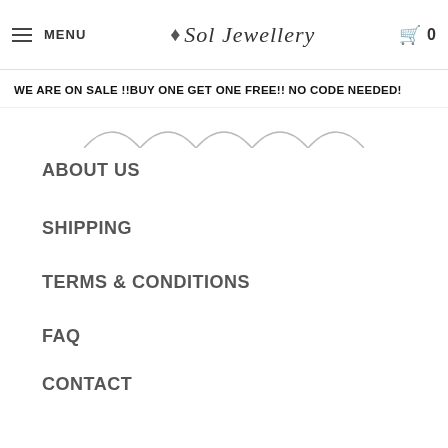MENU  Sol Jewellery  0
WE ARE ON SALE !!BUY ONE GET ONE FREE!! NO CODE NEEDED!
[Figure (illustration): Row of scallop/arch decorative divider shapes]
ABOUT US
SHIPPING
TERMS & CONDITIONS
FAQ
CONTACT
BLOG
Sign up to get the latest on sales, new releases and more …